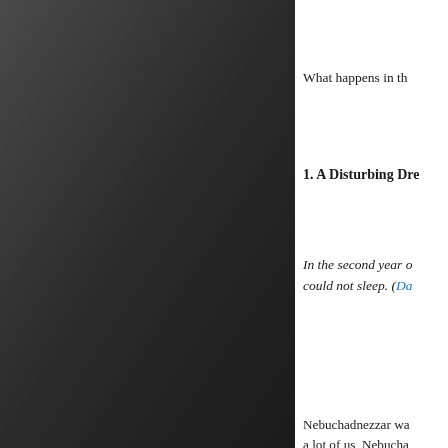[Figure (illustration): Dark gradient panel on the left side, approximately 295px wide, with a dark gray to near-black gradient background]
What happens in th
1. A Disturbing Dre
In the second year o could not sleep. (Da
Nebuchadnezzar wa a lot of us, Nebucha kingdom when he f kingdom and this d
Scientists say that w remember ninety-fi It was memorable. was bright. It was s
“Your Majesty look